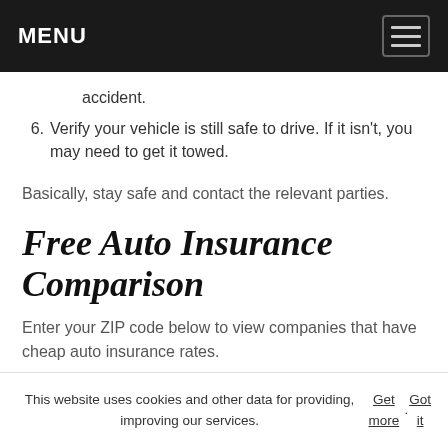MENU
accident.
6. Verify your vehicle is still safe to drive. If it isn't, you may need to get it towed.
Basically, stay safe and contact the relevant parties.
Free Auto Insurance Comparison
Enter your ZIP code below to view companies that have cheap auto insurance rates.
This website uses cookies and other data for providing, improving our services. Get more. Got it